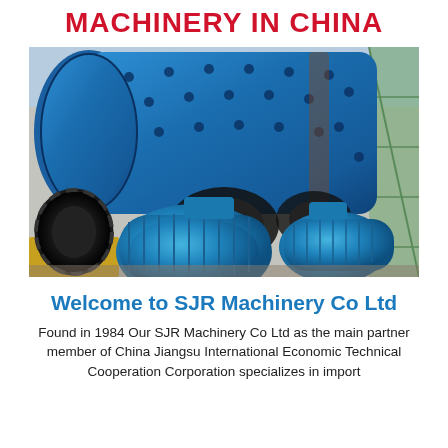MACHINERY IN CHINA
[Figure (photo): Industrial ball mill machinery with blue drum, electric motors, and drive wheels in a factory/industrial setting]
Welcome to SJR Machinery Co Ltd
Found in 1984 Our SJR Machinery Co Ltd as the main partner member of China Jiangsu International Economic Technical Cooperation Corporation specializes in import